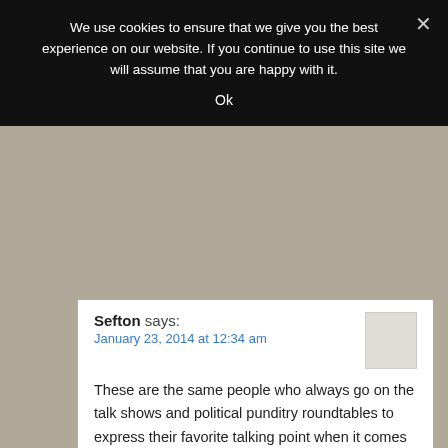We use cookies to ensure that we give you the best experience on our website. If you continue to use this site we will assume that you are happy with it.
Ok
Sefton says:
January 23, 2014 at 12:34 am
These are the same people who always go on the talk shows and political punditry roundtables to express their favorite talking point when it comes to racial issues: “It’s time to have an open, honest dialogue about race in this country.”
When the honest truth, if they ever chose to face it, is that they really don’t want to have that dialogue. They want to perpetuate the victimhood they have chosen to accept as a means to an end.